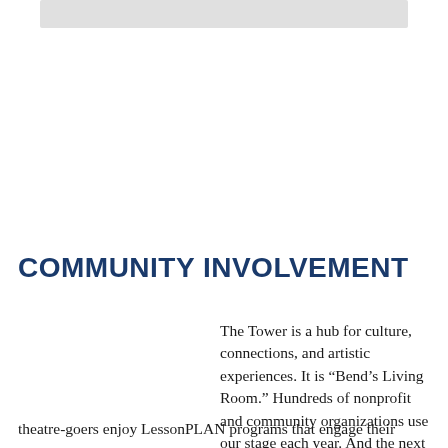[Figure (photo): A partial image at the top of the page, shown as a light gray rectangle strip]
COMMUNITY INVOLVEMENT
The Tower is a hub for culture, connections, and artistic experiences. It is “Bend’s Living Room.” Hundreds of nonprofit and community organizations use our stage each year. And the next generation of theatre-goers enjoy LessonPLAN programs that engage their